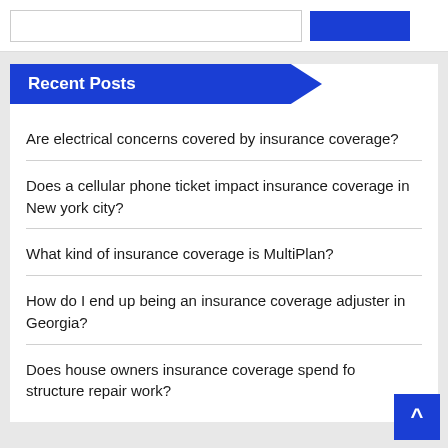Recent Posts
Are electrical concerns covered by insurance coverage?
Does a cellular phone ticket impact insurance coverage in New york city?
What kind of insurance coverage is MultiPlan?
How do I end up being an insurance coverage adjuster in Georgia?
Does house owners insurance coverage spend for structure repair work?